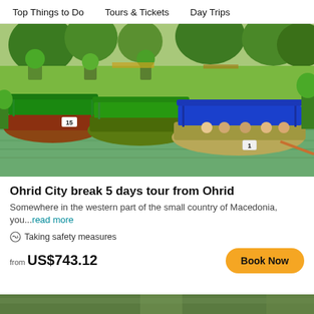Top Things to Do   Tours & Tickets   Day Trips
[Figure (photo): Colorful wooden boats numbered 1, 8, and 15 with canopies on a green river canal surrounded by lush vegetation and trees. Tourists are seated in the boats. Sunny day.]
Ohrid City break 5 days tour from Ohrid
Somewhere in the western part of the small country of Macedonia, you...read more
Taking safety measures
from US$743.12
Book Now
[Figure (photo): Partial view of another travel listing image at the bottom of the page, showing greenery.]